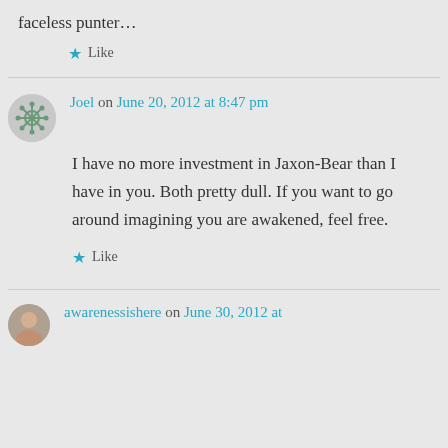faceless punter…
Like
Joel on June 20, 2012 at 8:47 pm
I have no more investment in Jaxon-Bear than I have in you. Both pretty dull. If you want to go around imagining you are awakened, feel free.
Like
awarenessishere on June 30, 2012 at